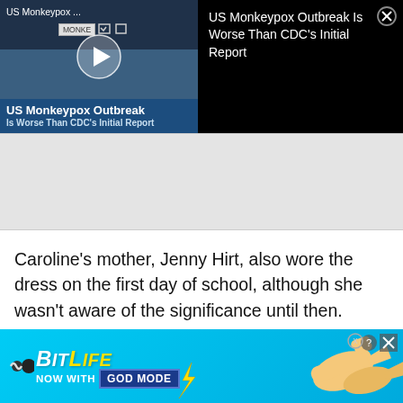[Figure (screenshot): Video thumbnail showing US Monkeypox Outbreak news video with play button, title overlay, and video info panel on black background]
[Figure (other): Gray advertisement placeholder area]
Caroline's mother, Jenny Hirt, also wore the dress on the first day of school, although she wasn't aware of the significance until then.
[Figure (other): BitLife advertisement banner - NOW WITH GOD MODE]